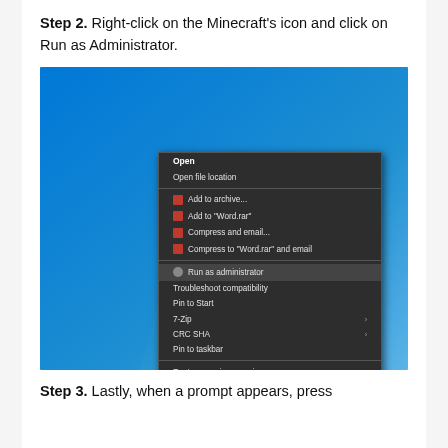Step 2. Right-click on the Minecraft's icon and click on Run as Administrator.
[Figure (screenshot): Windows 10 desktop showing a right-click context menu with 'Run as administrator' highlighted, on a blue Windows 10 desktop background.]
Step 3. Lastly, when a prompt appears, press...